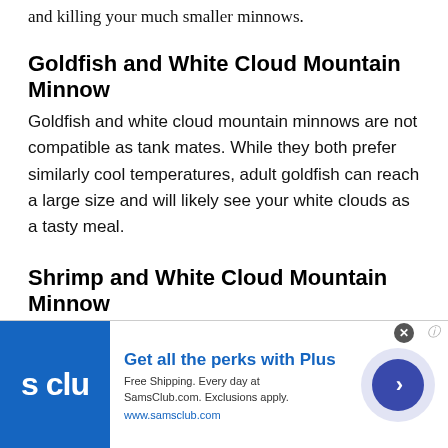and killing your much smaller minnows.
Goldfish and White Cloud Mountain Minnow
Goldfish and white cloud mountain minnows are not compatible as tank mates. While they both prefer similarly cool temperatures, adult goldfish can reach a large size and will likely see your white clouds as a tasty meal.
Shrimp and White Cloud Mountain Minnow
In some cases, shrimp and white cloud mountain minnow will make compatible tank mates. Both prefer cooler temperatures and will be comfortable
[Figure (other): Advertisement banner for Sam's Club Plus membership. Blue logo with 's clu' text on left. Headline: 'Get all the perks with Plus'. Subtext: 'Free Shipping. Every day at SamsClub.com. Exclusions apply.' URL: www.samsclub.com. Right side has a purple circle button with a right arrow.]